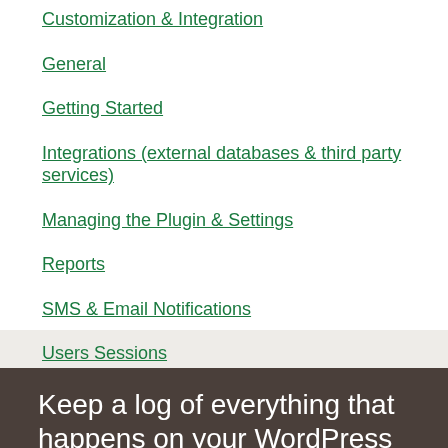Customization & Integration
General
Getting Started
Integrations (external databases & third party services)
Managing the Plugin & Settings
Reports
SMS & Email Notifications
Users Sessions
Keep a log of everything that happens on your WordPress